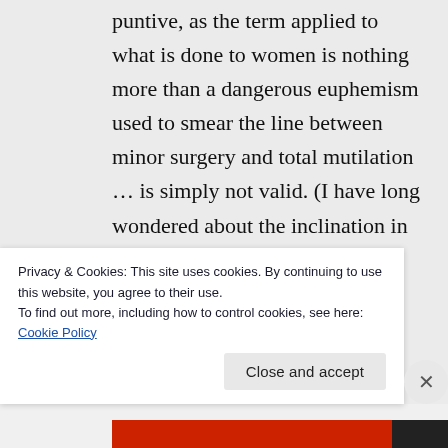puntive, as the term applied to what is done to women is nothing more than a dangerous euphemism used to smear the line between minor surgery and total mutilation … is simply not valid. (I have long wondered about the inclination in America to crop regardless of religious dictates.)

Circumcised men can and do continue to have and enjoy sex, but
Privacy & Cookies: This site uses cookies. By continuing to use this website, you agree to their use.
To find out more, including how to control cookies, see here: Cookie Policy